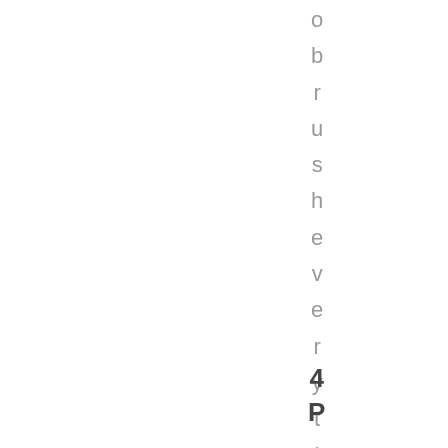o b r u s h e v e r y t i m e .
4 P